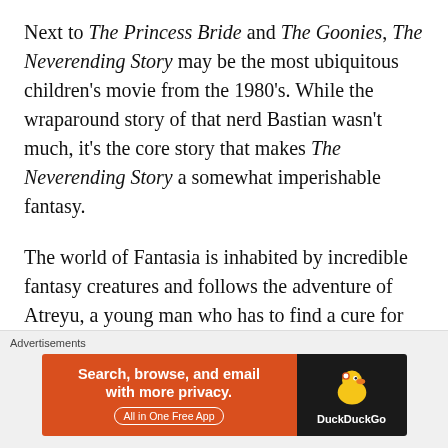Next to The Princess Bride and The Goonies, The Neverending Story may be the most ubiquitous children's movie from the 1980's. While the wraparound story of that nerd Bastian wasn't much, it's the core story that makes The Neverending Story a somewhat imperishable fantasy.
The world of Fantasia is inhabited by incredible fantasy creatures and follows the adventure of Atreyu, a young man who has to find a cure for the Childlike Empress's illness to restore her to health and stop the Nothing from destroying their world. And of course, there's a flying dog in
Advertisements
[Figure (other): DuckDuckGo advertisement banner: orange left panel with text 'Search, browse, and email with more privacy. All in One Free App' and dark right panel with DuckDuckGo duck logo and brand name.]